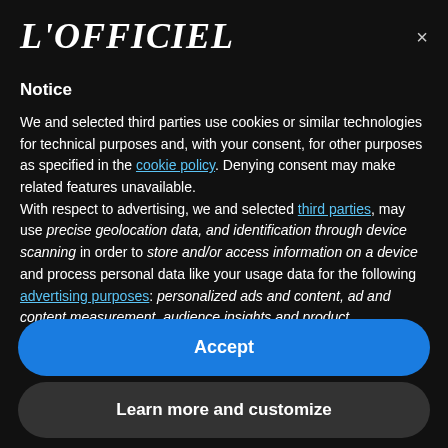L'OFFICIEL
×
Notice
We and selected third parties use cookies or similar technologies for technical purposes and, with your consent, for other purposes as specified in the cookie policy. Denying consent may make related features unavailable.
With respect to advertising, we and selected third parties, may use precise geolocation data, and identification through device scanning in order to store and/or access information on a device and process personal data like your usage data for the following advertising purposes: personalized ads and content, ad and content measurement, audience insights and product development.
Accept
Learn more and customize